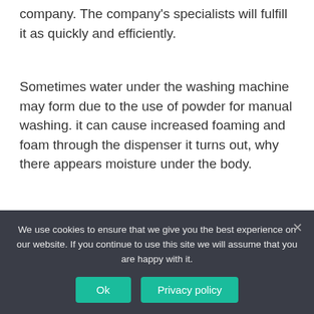company. The company's specialists will fulfill it as quickly and efficiently.
Sometimes water under the washing machine may form due to the use of powder for manual washing. it can cause increased foaming and foam through the dispenser it turns out, why there appears moisture under the body.
The device of the washing machine assumes the presence of a large number of compounds
We use cookies to ensure that we give you the best experience on our website. If you continue to use this site we will assume that you are happy with it.